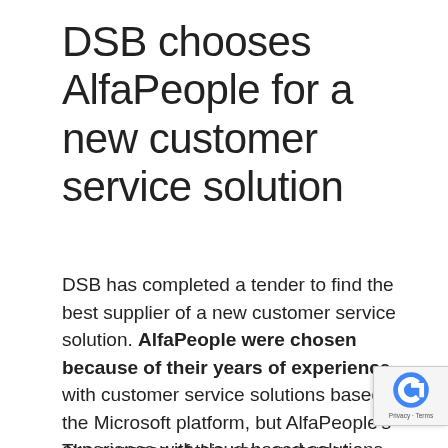DSB chooses AlfaPeople for a new customer service solution
DSB has completed a tender to find the best supplier of a new customer service solution. AlfaPeople were chosen because of their years of experience with customer service solutions based on the Microsoft platform, but AlfaPeople's experience with cloud-based solutions was also part of the reason behind this choice.
The purpose of this new customer service solution is for DSB's customers to experience a qualitative...